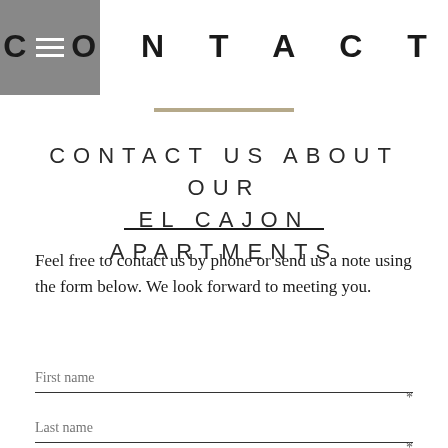CONTACT
CONTACT US ABOUT OUR EL CAJON APARTMENTS
Feel free to contact us by phone or send us a note using the form below. We look forward to meeting you.
First name *
Last name *